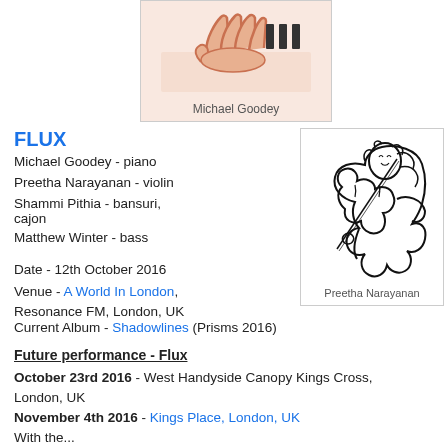[Figure (illustration): Hands playing piano, partially cropped - Michael Goodey]
Michael Goodey
FLUX
Michael Goodey - piano
Preetha Narayanan - violin
Shammi Pithia - bansuri, cajon
Matthew Winter - bass
Date - 12th October 2016
Venue - A World In London, Resonance FM, London, UK
[Figure (illustration): Line drawing illustration of Preetha Narayanan playing violin]
Preetha Narayanan
Current Album - Shadowlines (Prisms 2016)
Future performance - Flux
October 23rd 2016 - West Handyside Canopy Kings Cross, London, UK
November 4th 2016 - Kings Place, London, UK
With the...